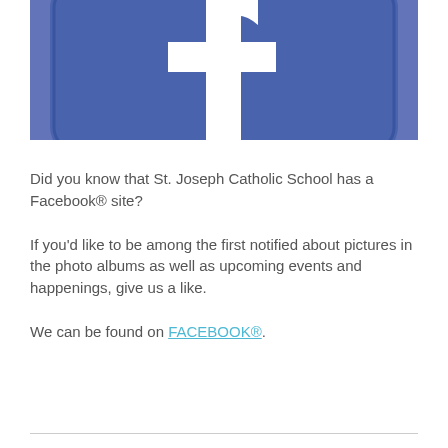[Figure (logo): Close-up of Facebook logo icon showing blue rounded square with white 'f' letter, cropped view]
Did you know that St. Joseph Catholic School has a Facebook® site?
If you'd like to be among the first notified about pictures in the photo albums as well as upcoming events and happenings, give us a like.
We can be found on FACEBOOK®.